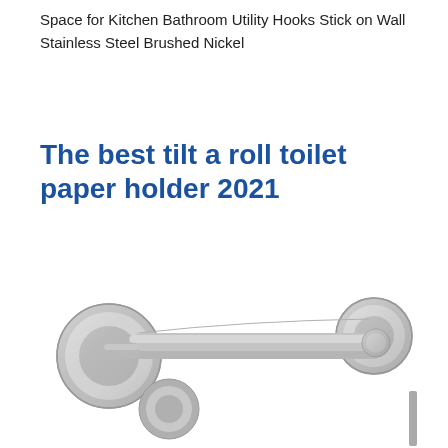Space for Kitchen Bathroom Utility Hooks Stick on Wall Stainless Steel Brushed Nickel
The best tilt a roll toilet paper holder 2021
[Figure (photo): A stainless steel brushed nickel toilet paper holder bar with two circular wall mounts, shown on a white background.]